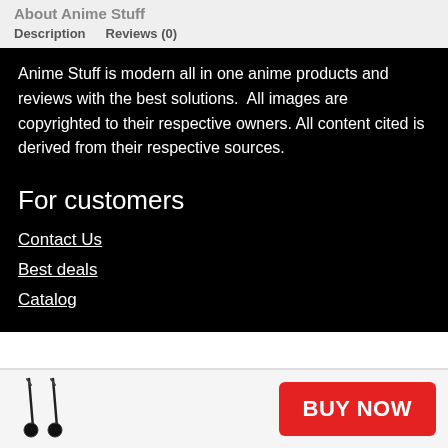About Anime Stuff
Description    Reviews (0)
Anime Stuff is modern all in one anime products and reviews with the best solutions.  All images are copyrighted to their respective owners. All content cited is derived from their respective sources.
For customers
Contact Us
Best deals
Catalog
[Figure (photo): Small product thumbnail showing two dark earring/jewelry items against light background]
BUY NOW